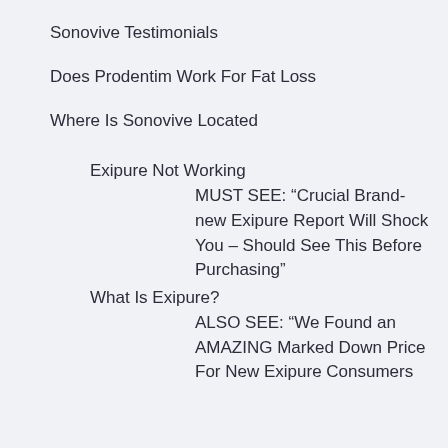Sonovive Testimonials
Does Prodentim Work For Fat Loss
Where Is Sonovive Located
Exipure Not Working
MUST SEE: “Crucial Brand-new Exipure Report Will Shock You – Should See This Before Purchasing”
What Is Exipure?
ALSO SEE: “We Found an AMAZING Marked Down Price For New Exipure Consumers